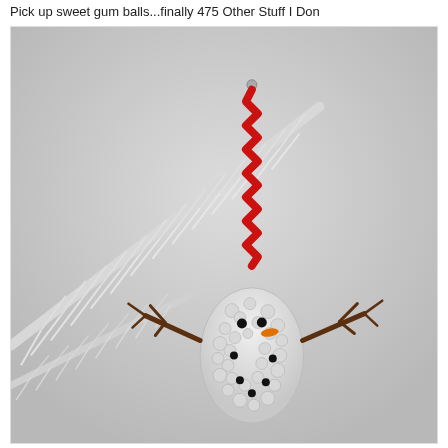Pick up sweet gum balls...finally 475 Other Stuff I Don
[Figure (photo): A handmade snowman ornament crafted from a sweet gum ball (spiky seed pod), painted white with googly eyes, an orange carrot nose made from a small piece of material, and brown twig arms. It is hanging from a white feathery pine tree branch by a red ric-rac ribbon with a small silver bead at the top. The background is a light grey-white.]